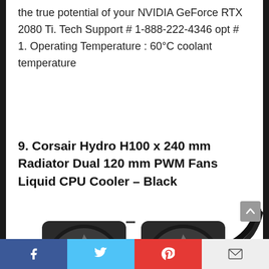the true potential of your NVIDIA GeForce RTX 2080 Ti. Tech Support # 1-888-222-4346 opt # 1. Operating Temperature : 60°C coolant temperature
9. Corsair Hydro H100 x 240 mm Radiator Dual 120 mm PWM Fans Liquid CPU Cooler – Black
[Figure (photo): Corsair Hydro H100x 240mm liquid CPU cooler with dual 120mm PWM fans and black radiator, shown at an angle with tubing visible]
Social share bar with Facebook, Twitter, Pinterest, and Email buttons